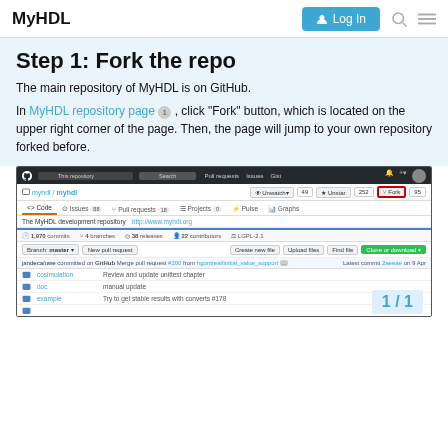MyHDL  Log In
Step 1: Fork the repo
The main repository of MyHDL is on GitHub.
In MyHDL repository page 1 , click “Fork” button, which is located on the upper right corner of the page. Then, the page will jump to your own repository forked before.
[Figure (screenshot): GitHub repository page for myhdl/myhdl showing the Fork button highlighted in a red border, with navigation tabs (Code, Issues 88, Pull requests 18, Projects 0, Pulse, Graphs), repository stats (1,970 commits, 4 branches, 38 releases, 22 contributors, LGPL-2.1), and file listing including cosimulation, doc, example folders.]
1 / 1